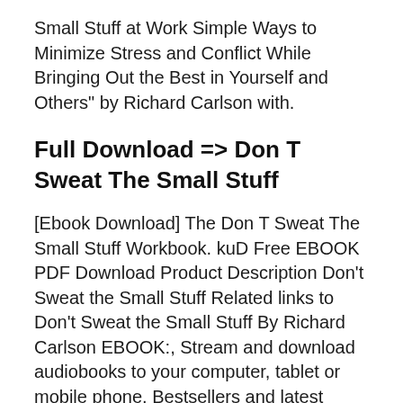Small Stuff at Work Simple Ways to Minimize Stress and Conflict While Bringing Out the Best in Yourself and Others" by Richard Carlson with.
Full Download => Don T Sweat The Small Stuff
[Ebook Download] The Don T Sweat The Small Stuff Workbook. kuD Free EBOOK PDF Download Product Description Don't Sweat the Small Stuff Related links to Don't Sweat the Small Stuff By Richard Carlson EBOOK:, Stream and download audiobooks to your computer, tablet or mobile phone. Bestsellers and latest releases. try any audiobook Free! Don't Sweat the Small Stuff.